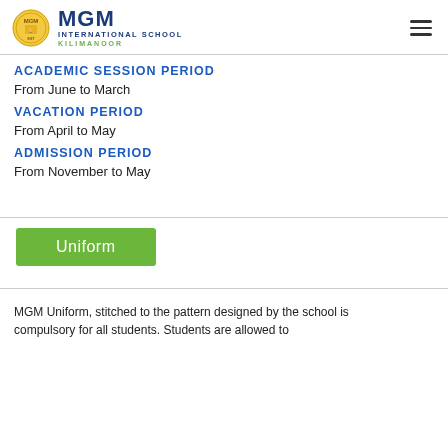MGM INTERNATIONAL SCHOOL KILIMANOOR
ACADEMIC SESSION PERIOD
From June to March
VACATION PERIOD
From April to May
ADMISSION PERIOD
From November to May
Uniform
MGM Uniform, stitched to the pattern designed by the school is compulsory for all students. Students are allowed to